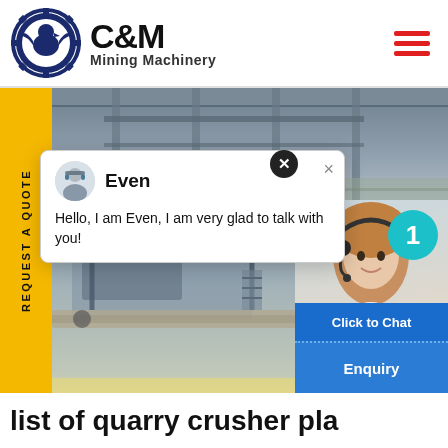[Figure (logo): C&M Mining Machinery logo with eagle/gear emblem]
[Figure (photo): Industrial mining machinery facility interior and quarry crusher plant equipment]
REQUEST A QUOTE
Even
Hello, I am Even, I am very glad to talk with you!
Click to Chat
Enquiry
list of quarry crusher pla